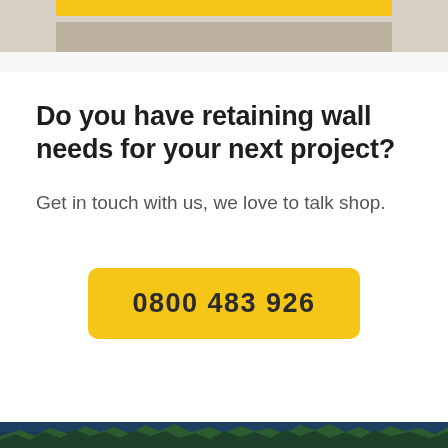[Figure (photo): Top portion showing a retaining wall installation with a yellow header bar and grey stone/concrete texture]
Do you have retaining wall needs for your next project?
Get in touch with us, we love to talk shop.
0800 483 926
[Figure (photo): Bottom strip showing tree silhouettes against a dark blue/teal background]